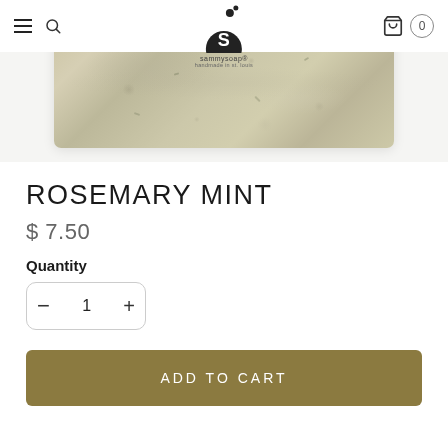sammysoap handmade in st. louis — navigation bar with hamburger menu, search, logo, cart (0)
[Figure (photo): Close-up top view of a bar of rosemary mint handmade soap with a mottled beige, cream, and taupe marbled surface with visible herb flecks.]
ROSEMARY MINT
$ 7.50
Quantity
− 1 +
ADD TO CART